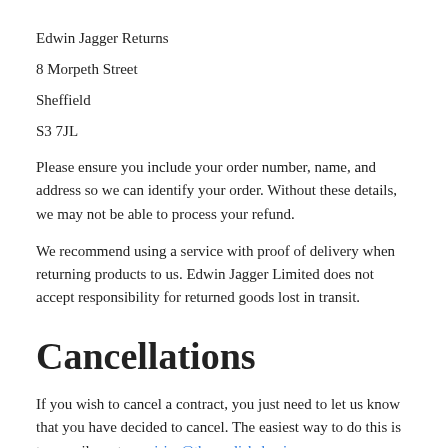Edwin Jagger Returns
8 Morpeth Street
Sheffield
S3 7JL
Please ensure you include your order number, name, and address so we can identify your order. Without these details, we may not be able to process your refund.
We recommend using a service with proof of delivery when returning products to us. Edwin Jagger Limited does not accept responsibility for returned goods lost in transit.
Cancellations
If you wish to cancel a contract, you just need to let us know that you have decided to cancel. The easiest way to do this is to e-mail us at enquiries@theenglishshavingcompany.com. Alternatively,